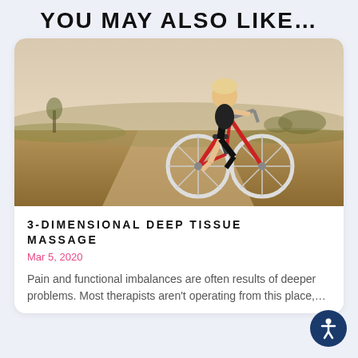YOU MAY ALSO LIKE…
[Figure (photo): Woman in athletic wear riding a red road bicycle on a dirt path through a dry grassy field, outdoors, action shot.]
3-DIMENSIONAL DEEP TISSUE MASSAGE
Mar 5, 2020
Pain and functional imbalances are often results of deeper problems. Most therapists aren't operating from this place,…